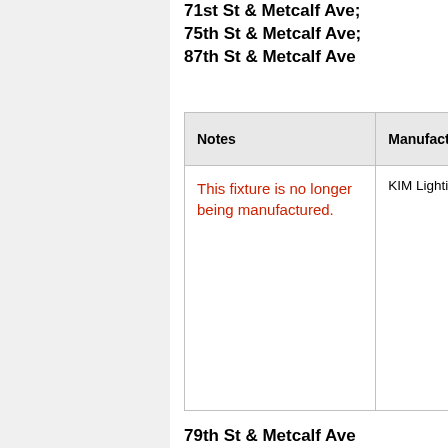71st St & Metcalf Ave; 75th St & Metcalf Ave; 87th St & Metcalf Ave
| Notes | Manufacturer |  |
| --- | --- | --- |
| This fixture is no longer being manufactured. | KIM Lighting | KIM 1A/M-HA3... This bec sha... |
79th St & Metcalf Ave